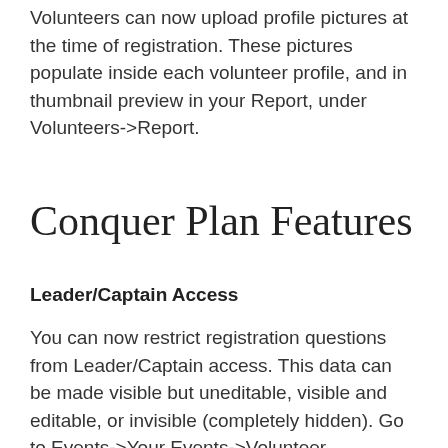Volunteers can now upload profile pictures at the time of registration. These pictures populate inside each volunteer profile, and in thumbnail preview in your Report, under Volunteers->Report.
Conquer Plan Features
Leader/Captain Access
You can now restrict registration questions from Leader/Captain access. This data can be made visible but uneditable, visible and editable, or invisible (completely hidden). Go to Events->Your Events->Volunteer Information and you'll see this new feature in-action underneath every question